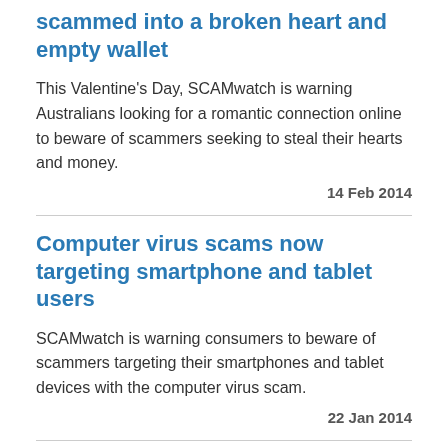scammed into a broken heart and empty wallet
This Valentine's Day, SCAMwatch is warning Australians looking for a romantic connection online to beware of scammers seeking to steal their hearts and money.
14 Feb 2014
Computer virus scams now targeting smartphone and tablet users
SCAMwatch is warning consumers to beware of scammers targeting their smartphones and tablet devices with the computer virus scam.
22 Jan 2014
Scam category